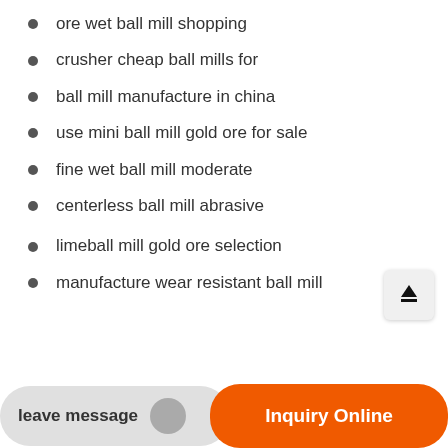ore wet ball mill shopping
crusher cheap ball mills for
ball mill manufacture in china
use mini ball mill gold ore for sale
fine wet ball mill moderate
centerless ball mill abrasive
limeball mill gold ore selection
manufacture wear resistant ball mill